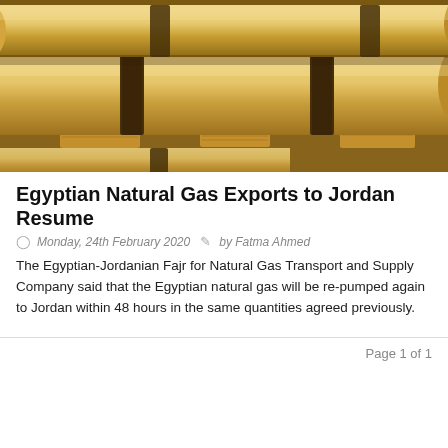[Figure (photo): Close-up photo of large industrial gas pipelines running through a sandy desert landscape, rendered in warm golden tones.]
Egyptian Natural Gas Exports to Jordan Resume
Monday, 24th February 2020   by Fatma Ahmed
The Egyptian-Jordanian Fajr for Natural Gas Transport and Supply Company said that the Egyptian natural gas will be re-pumped again to Jordan within 48 hours in the same quantities agreed previously.
Page 1 of 1